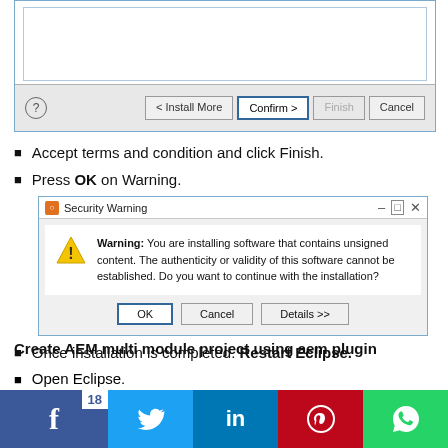[Figure (screenshot): Bottom portion of an Eclipse install wizard dialog showing Install More, Confirm, Finish, and Cancel buttons on a grey toolbar]
Accept terms and condition and click Finish.
Press OK on Warning.
[Figure (screenshot): Windows Security Warning dialog saying: Warning: You are installing software that contains unsigned content. The authenticity or validity of this software cannot be established. Do you want to continue with the installation? With OK, Cancel, and Details >> buttons.]
Once installation is completed. Restart Eclipse.
Create AEM multi module project using aem plugin
Open Eclipse.
[Figure (infographic): Social sharing bar with Facebook (18 shares), Twitter, LinkedIn, Pinterest, and WhatsApp icons]